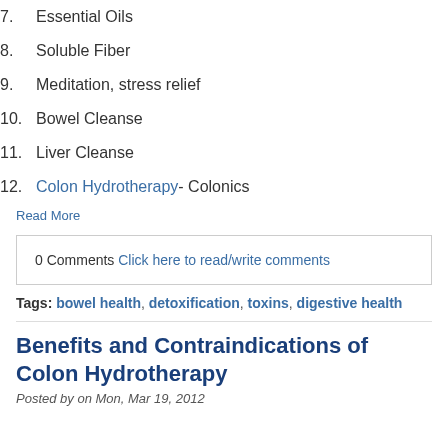7. Essential Oils
8. Soluble Fiber
9. Meditation, stress relief
10. Bowel Cleanse
11. Liver Cleanse
12. Colon Hydrotherapy - Colonics
Read More
0 Comments Click here to read/write comments
Tags: bowel health, detoxification, toxins, digestive health
Benefits and Contraindications of Colon Hydrotherapy
Posted by on Mon, Mar 19, 2012